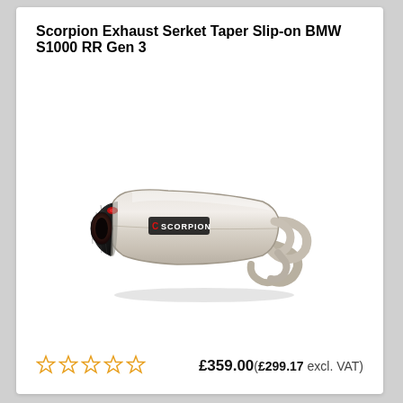Scorpion Exhaust Serket Taper Slip-on BMW S1000 RR Gen 3
[Figure (photo): Scorpion Exhaust Serket Taper Slip-on product photo — stainless steel exhaust canister with black carbon end cap bearing the red Scorpion logo, with mounting bracket and connector pipe, shown on a white background with a subtle shadow.]
☆☆☆☆☆   £359.00(£299.17 excl. VAT)